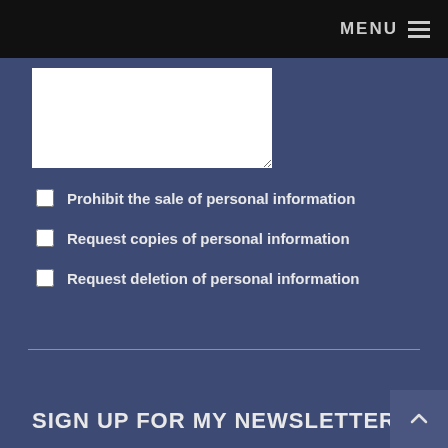MENU
Prohibit the sale of personal information
Request copies of personal information
Request deletion of personal information
Submit
SIGN UP FOR MY NEWSLETTER